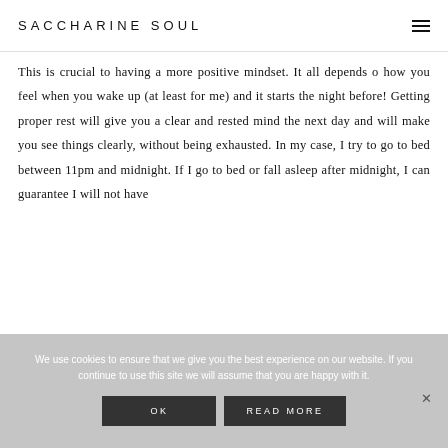SACCHARINE SOUL
This is crucial to having a more positive mindset. It all depends o how you feel when you wake up (at least for me) and it starts the night before! Getting proper rest will give you a clear and rested mind the next day and will make you see things clearly, without being exhausted. In my case, I try to go to bed between 11pm and midnight. If I go to bed or fall asleep after midnight, I can guarantee I will not have
We use cookies to ensure that we give you the best experience on our website. If you continue to use this site we will assume that you are happy with it.